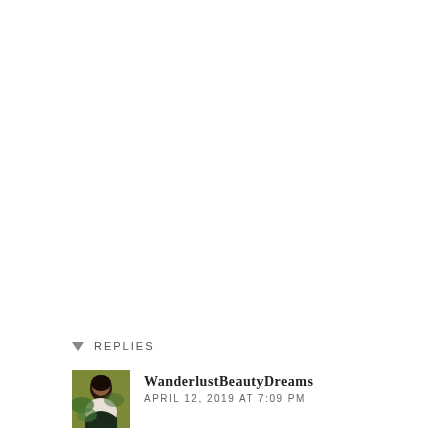REPLIES
[Figure (photo): Avatar photo of WanderlustBeautyDreams - a person with dark hair against a green background]
WanderlustBeautyDreams
APRIL 12, 2019 AT 7:09 PM
Glad this got be done :)